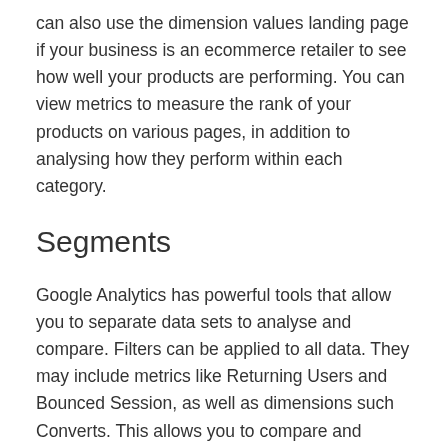can also use the dimension values landing page if your business is an ecommerce retailer to see how well your products are performing. You can view metrics to measure the rank of your products on various pages, in addition to analysing how they perform within each category.
Segments
Google Analytics has powerful tools that allow you to separate data sets to analyse and compare. Filters can be applied to all data. They may include metrics like Returning Users and Bounced Session, as well as dimensions such Converts. This allows you to compare and analyze data in more detail. Segments can also be used for many years, even after they are